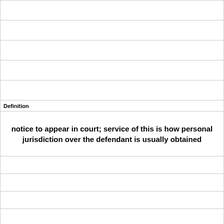Definition
notice to appear in court; service of this is how personal jurisdiction over the defendant is usually obtained
Term